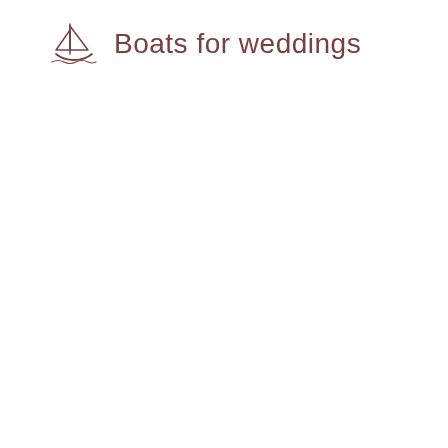[Figure (illustration): Small line-art sailboat icon in brown/mauve color]
Boats for weddings